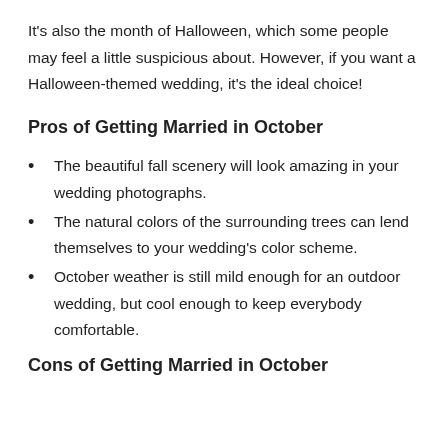It's also the month of Halloween, which some people may feel a little suspicious about. However, if you want a Halloween-themed wedding, it's the ideal choice!
Pros of Getting Married in October
The beautiful fall scenery will look amazing in your wedding photographs.
The natural colors of the surrounding trees can lend themselves to your wedding's color scheme.
October weather is still mild enough for an outdoor wedding, but cool enough to keep everybody comfortable.
Cons of Getting Married in October